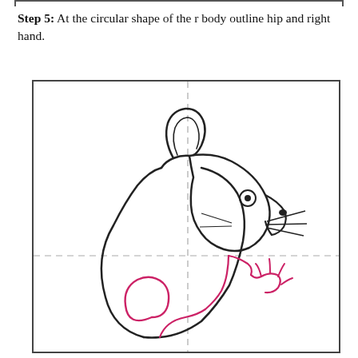Step 5: At the circular shape of the r body outline hip and right hand.
[Figure (illustration): Step-by-step drawing tutorial showing a rat/mouse in outline form. The figure is framed by a square with dashed crosshair guide lines (vertical and horizontal). The rat body and head are drawn in black ink, while the hip outline and right hand/paw are highlighted in pink/magenta to show the new additions in this step. The rat faces right, with a large ear, round eye, pointed snout, whisker lines, and a raised right paw with claws drawn in pink.]